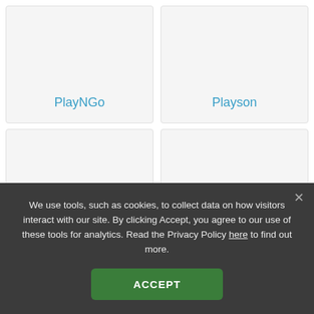[Figure (screenshot): Card with PlayNGo label in teal/blue color on light gray background]
[Figure (screenshot): Card with Playson label in teal/blue color on light gray background]
[Figure (screenshot): Empty card on light gray background (bottom left)]
[Figure (screenshot): Empty card on light gray background (bottom right), partially obscured by gray disclaimer bar]
18+ / Gambling can be addictive
Woo Casino test now
We use tools, such as cookies, to collect data on how visitors interact with our site. By clicking Accept, you agree to our use of these tools for analytics. Read the Privacy Policy here to find out more.
ACCEPT